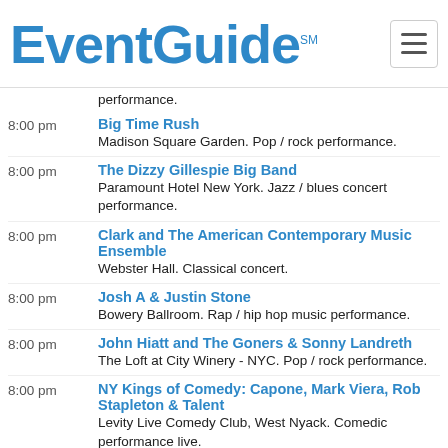EventGuide
performance.
8:00 pm — Big Time Rush. Madison Square Garden. Pop / rock performance.
8:00 pm — The Dizzy Gillespie Big Band. Paramount Hotel New York. Jazz / blues concert performance.
8:00 pm — Clark and The American Contemporary Music Ensemble. Webster Hall. Classical concert.
8:00 pm — Josh A & Justin Stone. Bowery Ballroom. Rap / hip hop music performance.
8:00 pm — John Hiatt and The Goners & Sonny Landreth. The Loft at City Winery - NYC. Pop / rock performance.
8:00 pm — NY Kings of Comedy: Capone, Mark Viera, Rob Stapleton & Talent. Levity Live Comedy Club, West Nyack. Comedic performance live.
9:00 pm — Bloomsday - Album Release Show. Mercury Lounge. Pop / rock performance.
10:00 pm — Starshine Burlesque